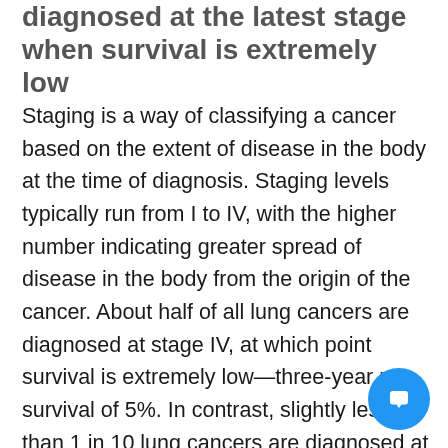diagnosed at the latest stage when survival is extremely low
Staging is a way of classifying a cancer based on the extent of disease in the body at the time of diagnosis. Staging levels typically run from I to IV, with the higher number indicating greater spread of disease in the body from the origin of the cancer. About half of all lung cancers are diagnosed at stage IV, at which point survival is extremely low—three-year net survival of 5%. In contrast, slightly less than 1 in 10 lung cancers are diagnosed at stage I when cancer is relatively small and contained